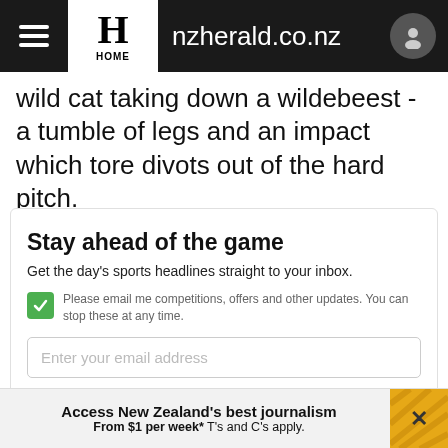nzherald.co.nz
wild cat taking down a wildebeest - a tumble of legs and an impact which tore divots out of the hard pitch.
Stay ahead of the game
Get the day's sports headlines straight to your inbox.
Please email me competitions, offers and other updates. You can stop these at any time.
Enter your email address
SIGN UP
Access New Zealand's best journalism From $1 per week* T's and C's apply.